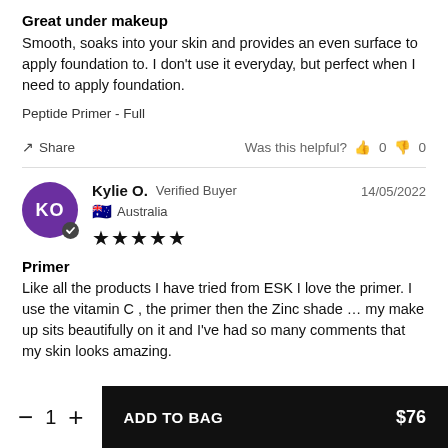Great under makeup
Smooth, soaks into your skin and provides an even surface to apply foundation to. I don't use it everyday, but perfect when I need to apply foundation.
Peptide Primer - Full
Share   Was this helpful?  👍 0  👎 0
Kylie O.  Verified Buyer   14/05/2022
Australia
★★★★★
Primer
Like all the products I have tried from ESK I love the primer. I use the vitamin C , the primer then the Zinc shade … my make up sits beautifully on it and I've had so many comments that my skin looks amazing.
1  ADD TO BAG  $76